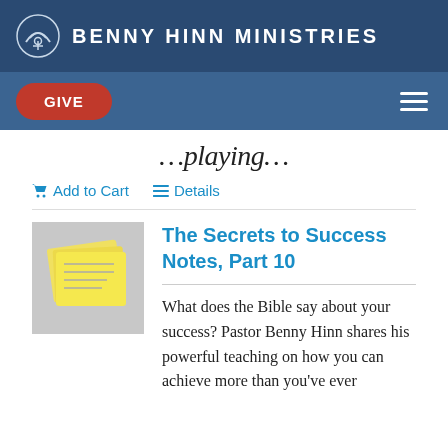BENNY HINN MINISTRIES
GIVE
…playing…
Add to Cart   Details
The Secrets to Success Notes, Part 10
What does the Bible say about your success? Pastor Benny Hinn shares his powerful teaching on how you can achieve more than you've ever